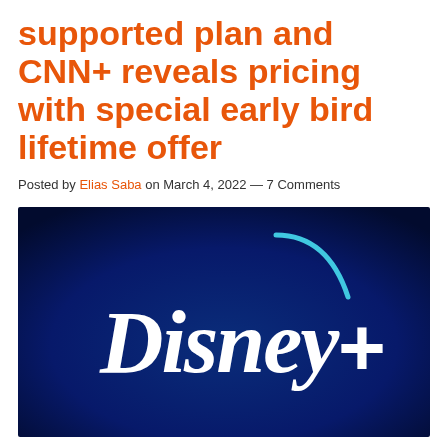supported plan and CNN+ reveals pricing with special early bird lifetime offer
Posted by Elias Saba on March 4, 2022 — 7 Comments
[Figure (logo): Disney+ logo on a dark blue gradient background with the Disney+ wordmark in white and a cyan arc above the plus sign]
Disney has announced that it intends to launch an ad-supported